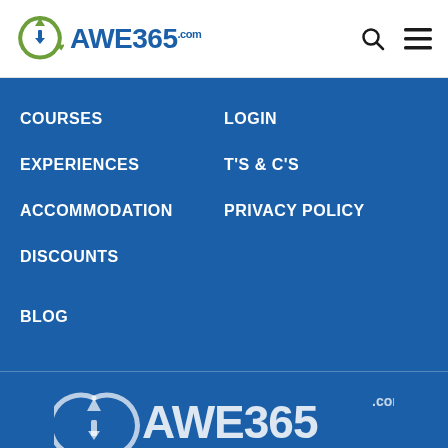AWE365.com
COURSES
LOGIN
EXPERIENCES
T'S & C'S
ACCOMMODATION
PRIVACY POLICY
DISCOUNTS
BLOG
Search
[Figure (logo): AWE365.com logo at bottom, partially visible]